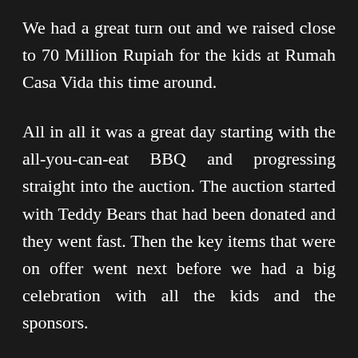We had a great turn out and we raised close to 70 Million Rupiah for the kids at Rumah Casa Vida this time around.
All in all it was a great day starting with the all-you-can-eat BBQ and progressing straight into the auction. The auction started with Teddy Bears that had been donated and they went fast. Then the key items that were on offer went next before we had a big celebration with all the kids and the sponsors.
We would like to thank the